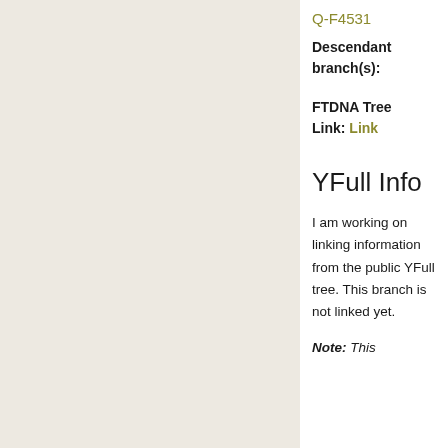Q-F4531
Descendant branch(s):
FTDNA Tree Link: Link
YFull Info
I am working on linking information from the public YFull tree. This branch is not linked yet.
Note: This